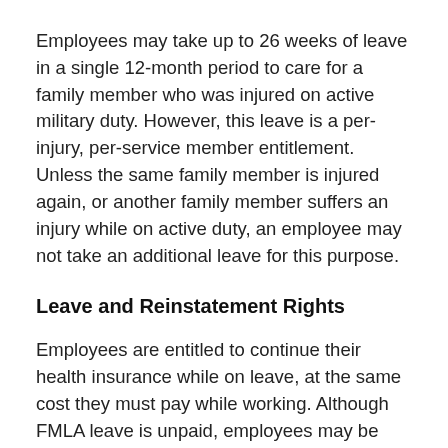Employees may take up to 26 weeks of leave in a single 12-month period to care for a family member who was injured on active military duty. However, this leave is a per-injury, per-service member entitlement. Unless the same family member is injured again, or another family member suffers an injury while on active duty, an employee may not take an additional leave for this purpose.
Leave and Reinstatement Rights
Employees are entitled to continue their health insurance while on leave, at the same cost they must pay while working. Although FMLA leave is unpaid, employees may be allowed (or required) to use their accrued paid leave during FMLA leave.